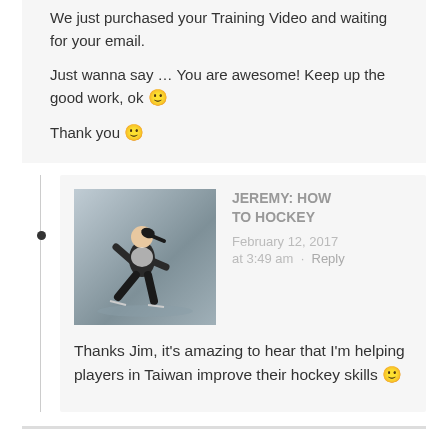We just purchased your Training Video and waiting for your email.

Just wanna say … You are awesome! Keep up the good work, ok 🙂

Thank you 🙂
JEREMY: HOW TO HOCKEY
February 12, 2017 at 3:49 am · Reply
Thanks Jim, it's amazing to hear that I'm helping players in Taiwan improve their hockey skills 🙂